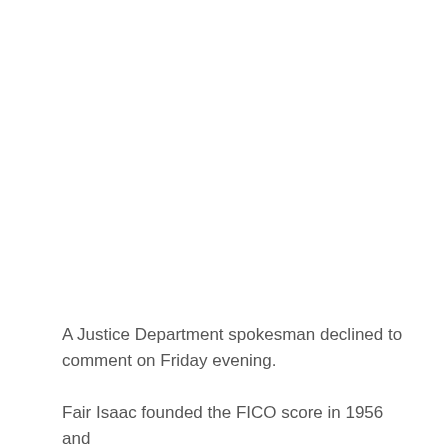A Justice Department spokesman declined to comment on Friday evening.
Fair Isaac founded the FICO score in 1956 and